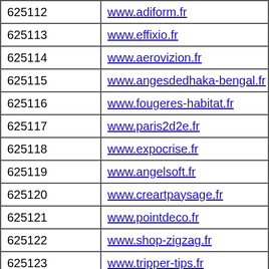| 625112 | www.adiform.fr |
| 625113 | www.effixio.fr |
| 625114 | www.aerovizion.fr |
| 625115 | www.angesdedhaka-bengal.fr |
| 625116 | www.fougeres-habitat.fr |
| 625117 | www.paris2d2e.fr |
| 625118 | www.expocrise.fr |
| 625119 | www.angelsoft.fr |
| 625120 | www.creartpaysage.fr |
| 625121 | www.pointdeco.fr |
| 625122 | www.shop-zigzag.fr |
| 625123 | www.tripper-tips.fr |
| 625124 | www.hospiguide.fr |
| 625125 | www.angelblack.fr |
| 625126 | www.patrickremy.fr |
| 625127 | www... |